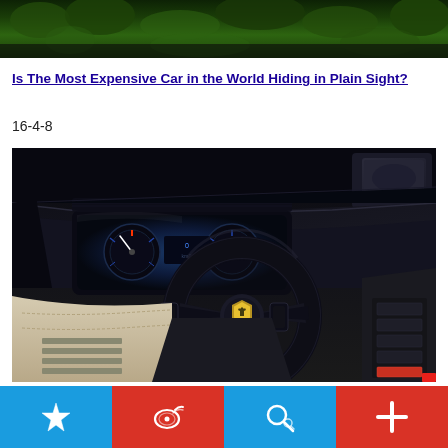[Figure (photo): Top portion of a photo showing green grass/foliage from above, partially cropped]
Is The Most Expensive Car in the World Hiding in Plain Sight?
16-4-8
[Figure (photo): Interior of a Lamborghini supercar showing the steering wheel with Lamborghini logo, instrument cluster/dashboard, and cream/beige leather interior]
[Figure (infographic): Bottom navigation bar with four buttons: blue star/bookmark icon, red Weibo social share icon, blue search icon, red plus/add icon]